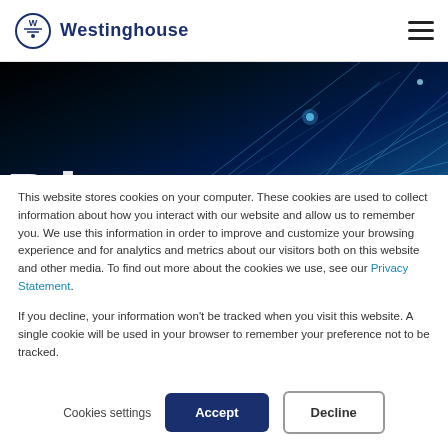Westinghouse
[Figure (illustration): Dark hero banner with blue glowing network/technology lines on dark background, with large partial white letters visible at bottom left]
This website stores cookies on your computer. These cookies are used to collect information about how you interact with our website and allow us to remember you. We use this information in order to improve and customize your browsing experience and for analytics and metrics about our visitors both on this website and other media. To find out more about the cookies we use, see our Privacy Statement.
If you decline, your information won't be tracked when you visit this website. A single cookie will be used in your browser to remember your preference not to be tracked.
Cookies settings  Accept  Decline